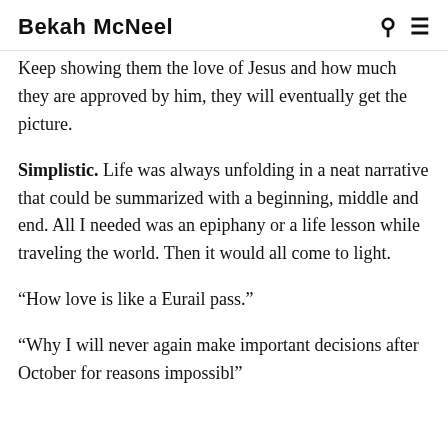Bekah McNeel
Keep showing them the love of Jesus and how much they are approved by him, they will eventually get the picture.
Simplistic. Life was always unfolding in a neat narrative that could be summarized with a beginning, middle and end. All I needed was an epiphany or a life lesson while traveling the world. Then it would all come to light.
“How love is like a Eurail pass.”
“Why I will never again make important decisions after October for reasons impossible”